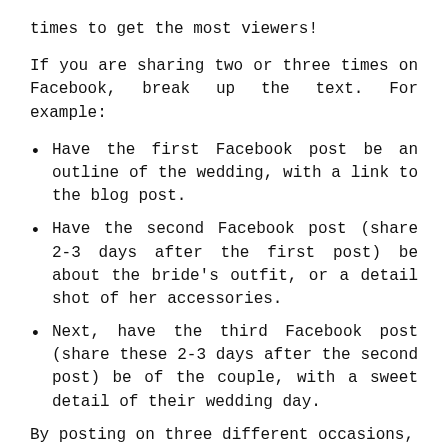times to get the most viewers!
If you are sharing two or three times on Facebook, break up the text. For example:
Have the first Facebook post be an outline of the wedding, with a link to the blog post.
Have the second Facebook post (share 2-3 days after the first post) be about the bride’s outfit, or a detail shot of her accessories.
Next, have the third Facebook post (share these 2-3 days after the second post) be of the couple, with a sweet detail of their wedding day.
By posting on three different occasions,